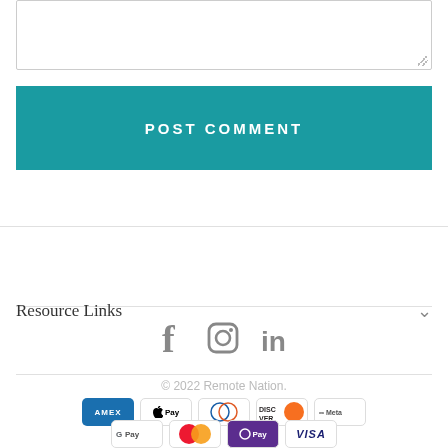[Figure (screenshot): Textarea input field stub at top of page]
POST COMMENT
Resource Links
[Figure (illustration): Social media icons: Facebook, Instagram, LinkedIn]
© 2022 Remote Nation.
[Figure (illustration): Payment method icons: Amex, Apple Pay, Diners, Discover, Meta Pay, Google Pay, Mastercard, O Pay, Visa]